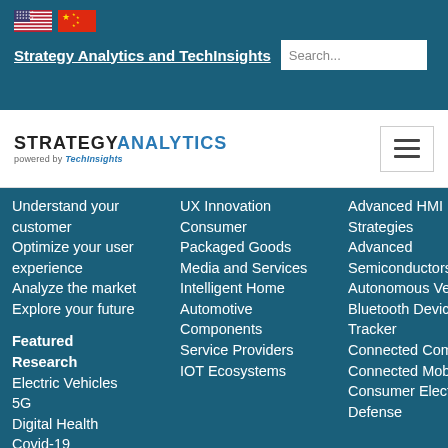Strategy Analytics and TechInsights
[Figure (logo): Strategy Analytics powered by TechInsights logo with hamburger menu]
Understand your customer
Optimize your user experience
Analyze the market
Explore your future
Featured Research
Electric Vehicles
5G
Digital Health
Covid-19
UX Innovation
Consumer
Packaged Goods
Media and Services
Intelligent Home
Automotive Components
Service Providers
IOT Ecosystems
Advanced HMI Strategies
Advanced Semiconductors
Autonomous Vehicles
Bluetooth Device Tracker
Connected Computing
Connected Mobility
Consumer Electronics
Defense